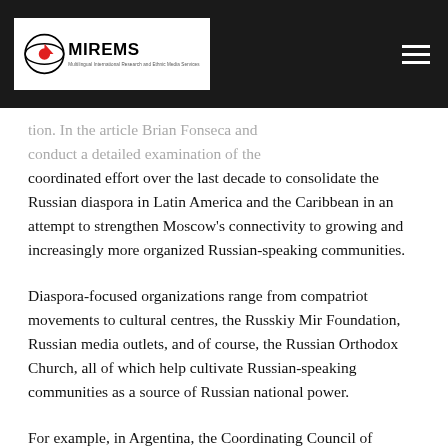MIREMS logo and navigation header
tion. In the article Brian Fonseca and conduct a detailed examination of the coordinated effort over the last decade to consolidate the Russian diaspora in Latin America and the Caribbean in an attempt to strengthen Moscow’s connectivity to growing and increasingly more organized Russian-speaking communities.
Diaspora-focused organizations range from compatriot movements to cultural centres, the Russkiy Mir Foundation, Russian media outlets, and of course, the Russian Orthodox Church, all of which help cultivate Russian-speaking communities as a source of Russian national power.
For example, in Argentina, the Coordinating Council of Russian Compatriot Organizations (KSORS), established in 2007, and the Coordinating Council for Russian Youth, established in 2012, are prominently promoted on the local Russian embassy website. The diaspora as an instrument of Russian national power in Latin America and the Caribbean is